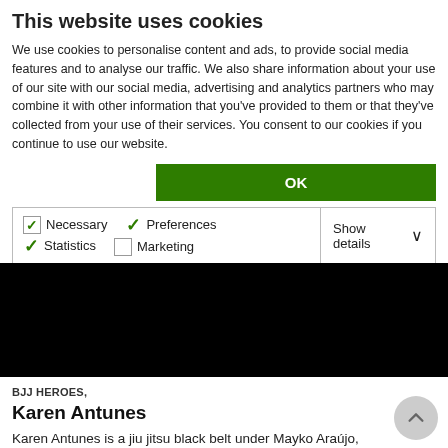This website uses cookies
We use cookies to personalise content and ads, to provide social media features and to analyse our traffic. We also share information about your use of our site with our social media, advertising and analytics partners who may combine it with other information that you've provided to them or that they've collected from your use of their services. You consent to our cookies if you continue to use our website.
[Figure (screenshot): Green OK button for cookie consent]
| Necessary | Preferences | Statistics | Show details |
| Marketing |  |  |  |
[Figure (photo): Black rectangle — obscured/dark image area]
BJJ HEROES,
Karen Antunes
Karen Antunes is a jiu jitsu black belt under Mayko Araújo,